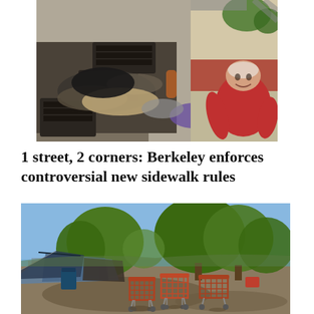[Figure (photo): A person in a red long-sleeve shirt sitting on a sidewalk next to stacked black plastic milk crates piled with clothing and belongings.]
1 street, 2 corners: Berkeley enforces controversial new sidewalk rules
[Figure (photo): An outdoor homeless encampment with tents, tarps, shopping carts, and scattered debris on a muddy open area with trees and blue sky in the background.]